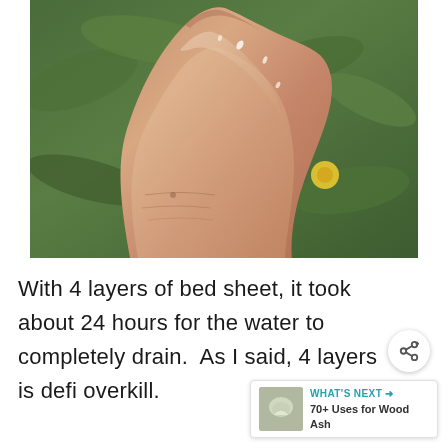[Figure (photo): Close-up photo of a human wrist/hand held up, showing wet or damp skin with water droplets. Green leaves and a yellow flower visible in the background.]
With 4 layers of bed sheet, it took about 24 hours for the water to completely drain. As I said, 4 layers is defi overkill.